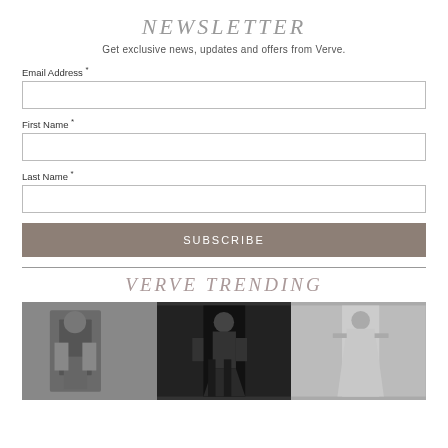NEWSLETTER
Get exclusive news, updates and offers from Verve.
Email Address *
First Name *
Last Name *
SUBSCRIBE
VERVE TRENDING
[Figure (photo): Three fashion photos side by side in black and white showing models in elaborate outfits]